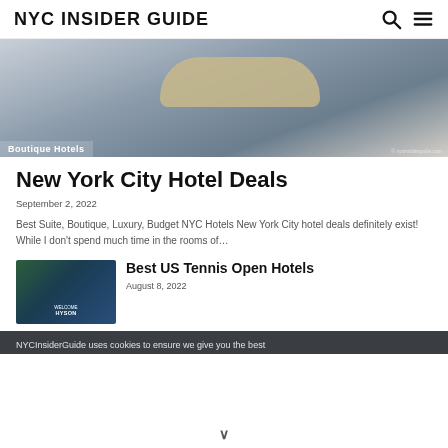NYC INSIDER GUIDE
[Figure (photo): Hotel room interior with rounded table surface, labeled 'Boutique Hotels']
New York City Hotel Deals
September 2, 2022
Best Suite, Boutique, Luxury, Budget NYC Hotels New York City hotel deals definitely exist! While I don't spend much time in the rooms of...
[Figure (photo): US Open tennis venue entrance with green hedge wall, HYSON WELCOME sign]
Best US Tennis Open Hotels
August 8, 2022
NYCInsiderGuide uses cookies to ensure we give you the best